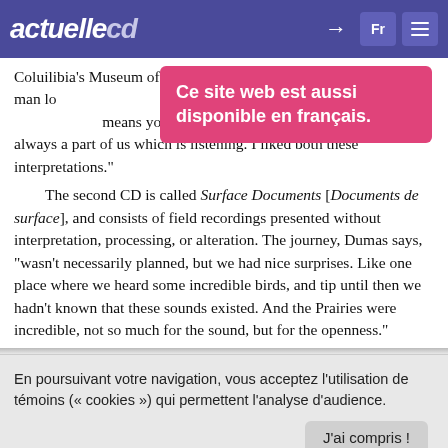actuellecd
Coluilibia's Museum of anth... one could see a little man lo... could have different meanin... means you are crazy. For me, it means that there is always a part of us which is listening. I liked both these interpretations."
[Figure (screenshot): Pink popup with text: Ce site web est aussi disponible en français.]
The second CD is called Surface Documents [Documents de surface], and consists of field recordings presented without interpretation, processing, or alteration. The journey, Dumas says, "wasn't necessarily planned, but we had nice surprises. Like one place where we heard some incredible birds, and tip until then we hadn't known that these sounds existed. And the Prairies were incredible, not so much for the sound, but for the openness."
The resulting CDs present a wide range of sounds, rhythms, timbres, and voices. We hear a foghorn near Tofino, B.C.; the wind in a
En poursuivant votre navigation, vous acceptez l'utilisation de témoins (« cookies ») qui permettent l'analyse d'audience.
J'ai compris !